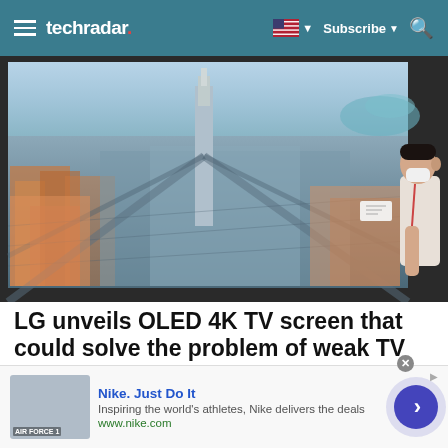techradar | Subscribe
[Figure (photo): A person wearing a mask looking closely at a large LG OLED TV screen displaying an aerial view of a city skyline (New York City). The TV is mounted on a dark wall.]
LG unveils OLED 4K TV screen that could solve the problem of weak TV sound
A vibrating TV screen is an idea we've seen before from Sony, but never from LG, and it could be a big deal
[Figure (screenshot): Advertisement banner: Nike. Just Do It. Inspiring the world's athletes, Nike delivers the deals. www.nike.com]